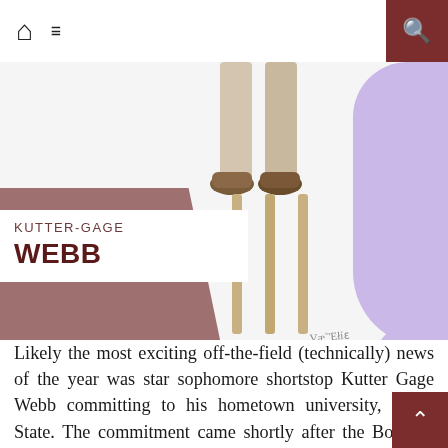🏠 ☰   🔍
[Figure (illustration): Illustration of cricket stumps with shoes/legs at the top, shown in a light beige/gold artistic style. Artist signature visible in lower right of illustration area.]
KUTTER-GAGE WEBB
Likely the most exciting off-the-field (technically) news of the year was star sophomore shortstop Kutter Gage Webb committing to his hometown university, Texas State. The commitment came shortly after the Bobcats' massive victory over No. 1 Texas at Disch-Falk field in Austin, proving Coach Trout's ball club can compete with the best in the country. Texas State has consistently been ranked in the top 20 throghout the